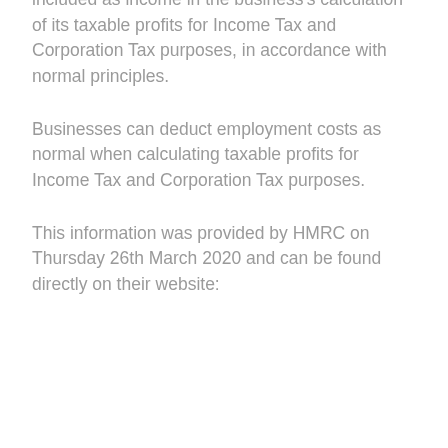deductible revenue costs. They must therefore be included as income in the business's calculation of its taxable profits for Income Tax and Corporation Tax purposes, in accordance with normal principles.
Businesses can deduct employment costs as normal when calculating taxable profits for Income Tax and Corporation Tax purposes.
This information was provided by HMRC on Thursday 26th March 2020 and can be found directly on their website: